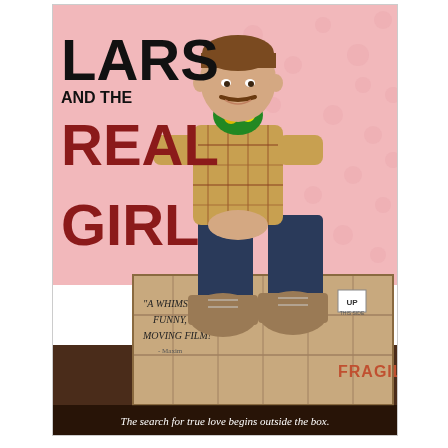[Figure (illustration): Movie poster for 'Lars and the Real Girl'. Pink polka-dot background at top. A young man with a mustache wearing a plaid shirt and jeans sits on a wooden crate, holding yellow roses. He wears brown boots. Text on poster: 'LARS' in large black letters top-left, 'AND THE' in smaller black letters, 'REAL GIRL' in large dark red letters. A quote reads: 'A whimsical, funny, moving film!' - Maxim. The crate has 'FRAGILE' and 'THIS SIDE UP' markings. Bottom tagline: 'The search for true love begins outside the box.']